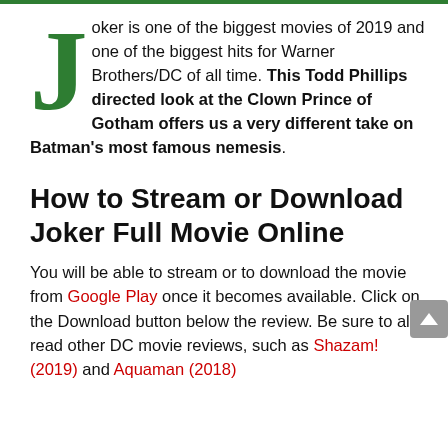Joker is one of the biggest movies of 2019 and one of the biggest hits for Warner Brothers/DC of all time. This Todd Phillips directed look at the Clown Prince of Gotham offers us a very different take on Batman's most famous nemesis.
How to Stream or Download Joker Full Movie Online
You will be able to stream or to download the movie from Google Play once it becomes available. Click on the Download button below the review. Be sure to also read other DC movie reviews, such as Shazam! (2019) and Aquaman (2018).